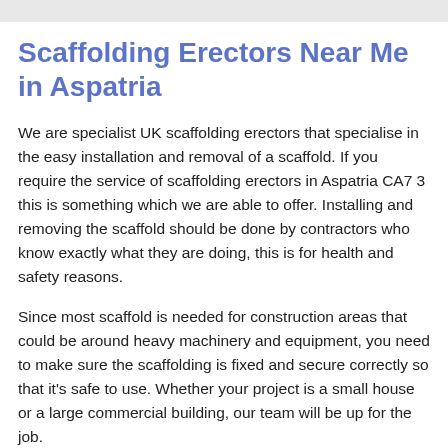Scaffolding Erectors Near Me in Aspatria
We are specialist UK scaffolding erectors that specialise in the easy installation and removal of a scaffold. If you require the service of scaffolding erectors in Aspatria CA7 3 this is something which we are able to offer. Installing and removing the scaffold should be done by contractors who know exactly what they are doing, this is for health and safety reasons.
Since most scaffold is needed for construction areas that could be around heavy machinery and equipment, you need to make sure the scaffolding is fixed and secure correctly so that it's safe to use. Whether your project is a small house or a large commercial building, our team will be up for the job.
For more details on fitting and removing this equipment, along with the many other services which we can provide, make sure you fill out the contact form. We have tried to make the enquiry process